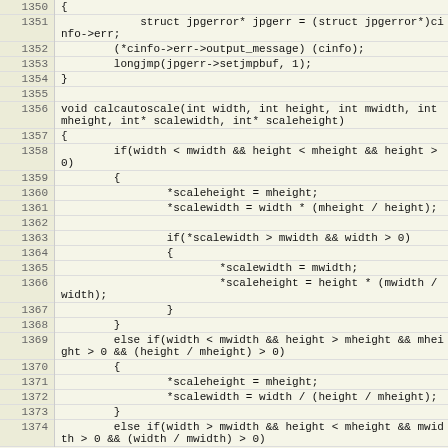[Figure (screenshot): Source code listing showing C code for a calcautoscale function, with line numbers 1350-1374. The code includes error handling with jpgerror struct and a function that calculates scaled dimensions based on width/height constraints.]